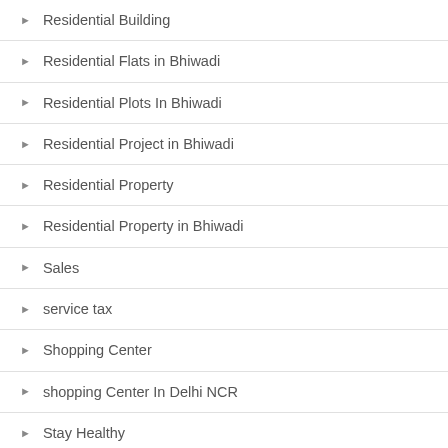Residential Building
Residential Flats in Bhiwadi
Residential Plots In Bhiwadi
Residential Project in Bhiwadi
Residential Property
Residential Property in Bhiwadi
Sales
service tax
Shopping Center
shopping Center In Delhi NCR
Stay Healthy
tourism India